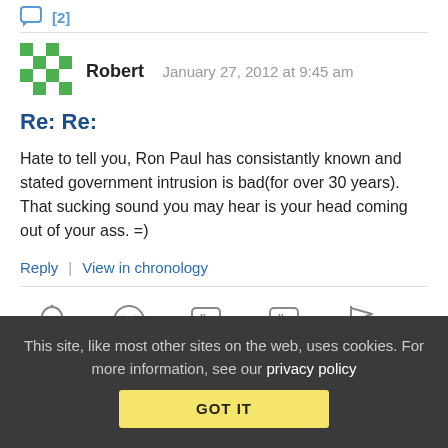[Figure (icon): Chat/comment icon with [2] badge at top]
[Figure (illustration): Avatar: green and white diamond pattern square icon for user Robert]
Robert    January 27, 2012 at 9:45 am
Re: Re:
Hate to tell you, Ron Paul has consistantly known and stated government intrusion is bad(for over 30 years). That sucking sound you may hear is your head coming out of your ass. =)
Reply | View in chronology
[Figure (infographic): Row of action icons: lightbulb, laughing face, open-quote bubble, close-quote bubble, flag]
This site, like most other sites on the web, uses cookies. For more information, see our privacy policy
GOT IT